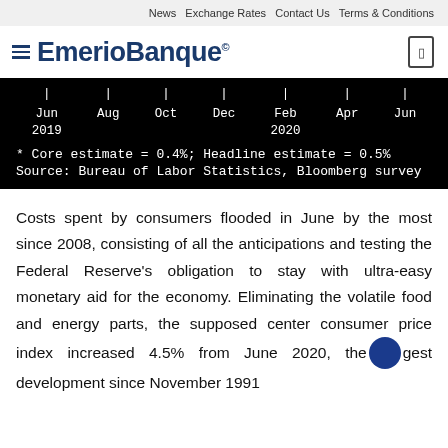News  Exchange Rates  Contact Us  Terms & Conditions
EmerioBanque
[Figure (continuous-plot): Time axis showing months from Jun 2019 to Jun 2020 (Jun, Aug, Oct, Dec, Feb 2020, Apr, Jun) on a black background. Contains footnote: * Core estimate = 0.4%; Headline estimate = 0.5%. Source: Bureau of Labor Statistics, Bloomberg survey]
Costs spent by consumers flooded in June by the most since 2008, consisting of all the anticipations and testing the Federal Reserve's obligation to stay with ultra-easy monetary aid for the economy. Eliminating the volatile food and energy parts, the supposed center consumer price index increased 4.5% from June 2020, the largest development since November 1991.